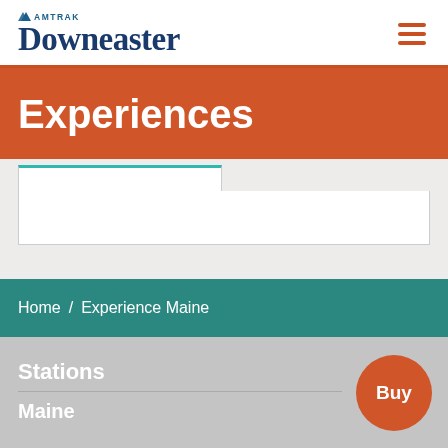Amtrak Downeaster
Experiences
Home / Experience Maine
Stations
Maine